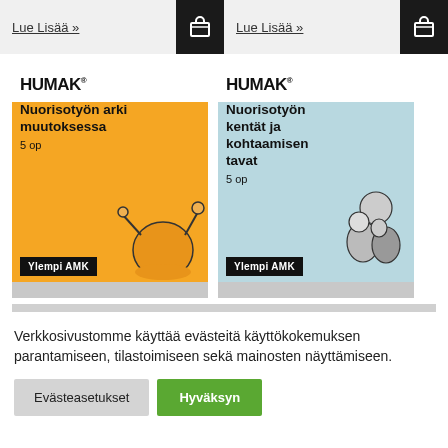Lue Lisää »
Lue Lisää »
[Figure (illustration): HUMAK logo with orange background card showing 'Nuorisotyön arki muutoksessa 5 op Ylempi AMK' with illustrated character raising arms]
[Figure (illustration): HUMAK logo with light blue background card showing 'Nuorisotyön kentät ja kohtaamisen tavat 5 op Ylempi AMK' with illustrated figures]
Verkkosivustomme käyttää evästeitä käyttökokemuksen parantamiseen, tilastoimiseen sekä mainosten näyttämiseen.
Evästeasetukset
Hyväksyn